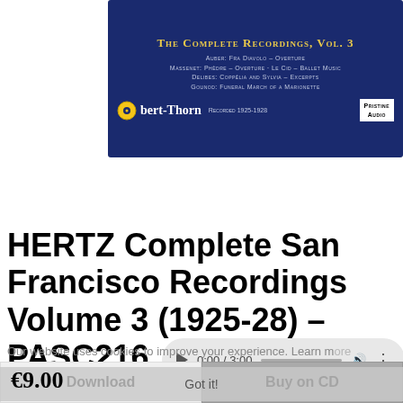[Figure (photo): Album cover for 'The Complete Recordings, Vol. 3' featuring Robert Thorn, recorded 1925-1928. Dark blue background with gold and white text listing tracks by Auber, Massenet, Delibes, and Gounod. Pristine Audio logo in bottom right.]
[Figure (screenshot): Audio player control showing 0:00 / 3:00 with play button, progress bar, volume icon, and menu dots on a grey rounded pill background.]
HERTZ Complete San Francisco Recordings Volume 3 (1925-28) – PASC216
Our website uses cookies to improve your experience. Learn more
Download
Buy on CD
€9.00
Got it!